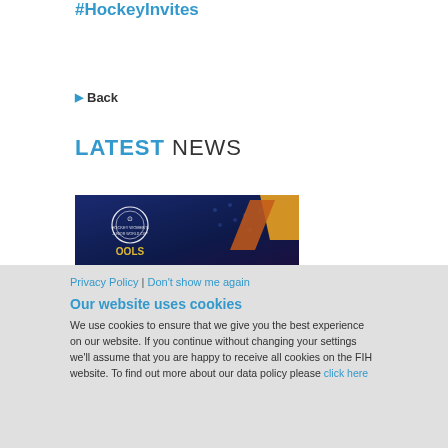#HockeyInvites
▶ Back
LATEST NEWS
[Figure (photo): Hockey event banner image with dark blue background, white logo/emblem and orange geometric shapes]
Privacy Policy | Don't show me again
Our website uses cookies
We use cookies to ensure that we give you the best experience on our website. If you continue without changing your settings we'll assume that you are happy to receive all cookies on the FIH website. To find out more about our data policy please click here